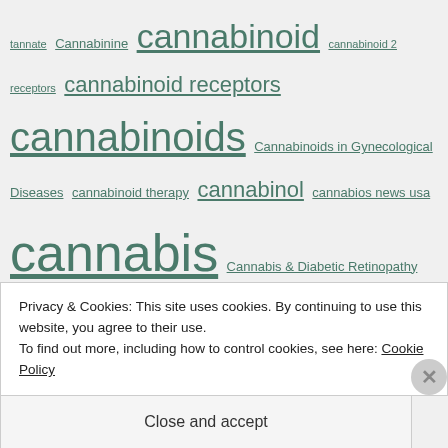tannate Cannabinine cannabinoid cannabinoid 2 receptors cannabinoid receptors cannabinoids Cannabinoids in Gynecological Diseases cannabinoid therapy cannabinol cannabios news usa cannabis Cannabis & Diabetic Retinopathy cannabis-based Cannabis-based medicine Cannabis-derivatives Cannabis-infused drink cannabis-infused drinks Cannabis-Infused Edibles Cannabis-infused food cannabis-infused latte cannabis-infused yoga cannabis. drinkable cannabis.ganja cannabis 27.8 million years old cannabis 70s CANNABIS 2017 cannabis activism CANNABIS ADD cannabis addicts CANNABIS ADHD cannabis ads cannabis adverts
Privacy & Cookies: This site uses cookies. By continuing to use this website, you agree to their use.
To find out more, including how to control cookies, see here: Cookie Policy
Close and accept